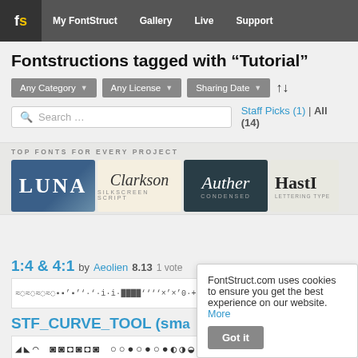FontStruct — My FontStruct | Gallery | Live | Support
Fontstructions tagged with “Tutorial”
Any Category | Any License | Sharing Date | sort arrows
Search ... | Staff Picks (1) | All (14)
[Figure (infographic): Advertisement banner: TOP FONTS FOR EVERY PROJECT — showing font preview images: LUNA, Clarkson (Silkscreen Script), Auther (Condensed), HASTI (Lettering Type)]
1:4 & 4:1 by Aeolien 8.13 1 vote
[Figure (screenshot): Font preview for 1:4 & 4:1 showing decorative characters and pixel patterns]
STF CURVE TOOL (sma...
[Figure (screenshot): Font preview for STF CURVE TOOL showing circular/oval character glyphs]
FontStruct.com uses cookies to ensure you get the best experience on our website. More
Got it